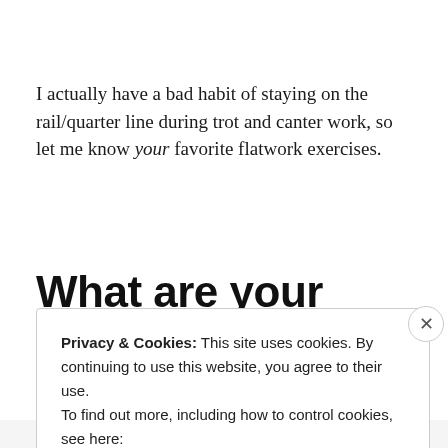I actually have a bad habit of staying on the rail/quarter line during trot and canter work, so let me know your favorite flatwork exercises.
What are your goals with Ax
Privacy & Cookies: This site uses cookies. By continuing to use this website, you agree to their use.
To find out more, including how to control cookies, see here:
Cookie Policy
Close and accept